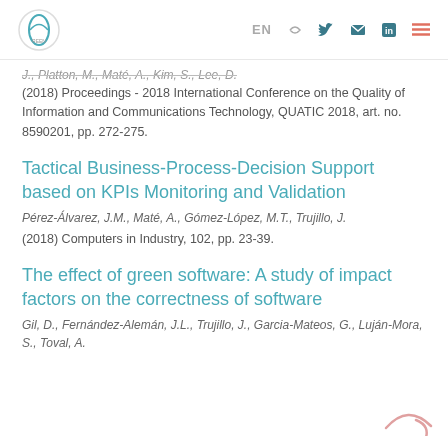[Logo] EN [Twitter] [Email] [LinkedIn] [Menu]
J., Platton, M., Maté, A., Kim, S., Lee, D.
(2018) Proceedings - 2018 International Conference on the Quality of Information and Communications Technology, QUATIC 2018, art. no. 8590201, pp. 272-275.
Tactical Business-Process-Decision Support based on KPIs Monitoring and Validation
Pérez-Álvarez, J.M., Maté, A., Gómez-López, M.T., Trujillo, J.
(2018) Computers in Industry, 102, pp. 23-39.
The effect of green software: A study of impact factors on the correctness of software
Gil, D., Fernández-Alemán, J.L., Trujillo, J., Garcia-Mateos, G., Luján-Mora, S., Toval, A.